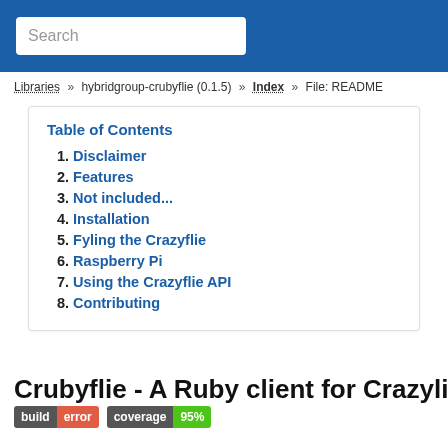Search
Libraries » hybridgroup-crubyflie (0.1.5) » Index » File: README
Table of Contents
1. Disclaimer
2. Features
3. Not included...
4. Installation
5. Fyling the Crazyflie
6. Raspberry Pi
7. Using the Crazyflie API
8. Contributing
Crubyflie - A Ruby client for Crazyflie
build error  coverage 95%